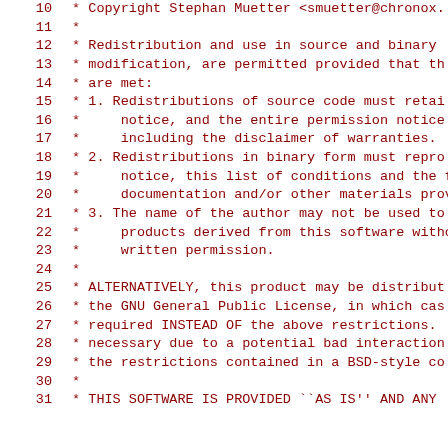10   * Copyright Stephan Muetter <smuetter@chronox.
11   *
12   * Redistribution and use in source and binary
13   * modification, are permitted provided that th
14   * are met:
15   * 1. Redistributions of source code must retai
16   *      notice, and the entire permission notice
17   *      including the disclaimer of warranties.
18   * 2. Redistributions in binary form must repro
19   *      notice, this list of conditions and the f
20   *      documentation and/or other materials prov
21   * 3. The name of the author may not be used to
22   *      products derived from this software witho
23   *      written permission.
24   *
25   * ALTERNATIVELY, this product may be distribut
26   * the GNU General Public License, in which cas
27   * required INSTEAD OF the above restrictions.
28   * necessary due to a potential bad interaction
29   * the restrictions contained in a BSD-style co
30   *
31   * THIS SOFTWARE IS PROVIDED ``AS IS'' AND ANY